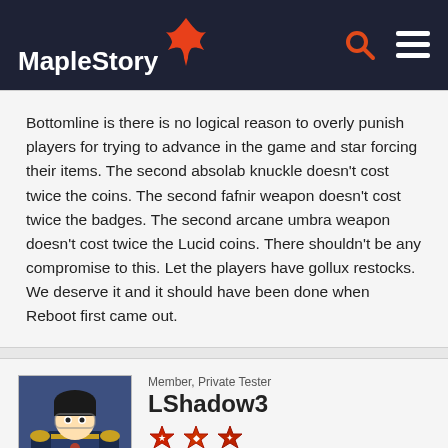MapleStory
Bottomline is there is no logical reason to overly punish players for trying to advance in the game and star forcing their items. The second absolab knuckle doesn't cost twice the coins. The second fafnir weapon doesn't cost twice the badges. The second arcane umbra weapon doesn't cost twice the Lucid coins. There shouldn't be any compromise to this. Let the players have gollux restocks. We deserve it and it should have been done when Reboot first came out.
Member, Private Tester
LShadow3
Reactions: 1,555
Posts: 41
JUNE 2018    EDITED JUNE 2018